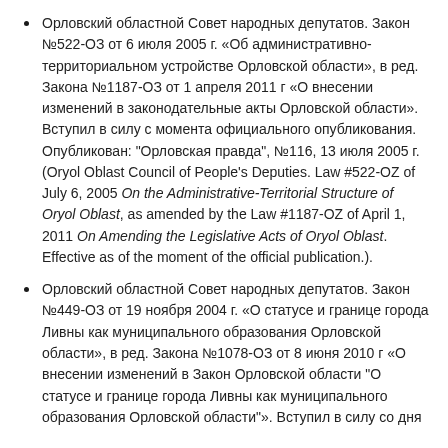Орловский областной Совет народных депутатов. Закон №522-ОЗ от 6 июля 2005 г. «Об административно-территориальном устройстве Орловской области», в ред. Закона №1187-ОЗ от 1 апреля 2011 г «О внесении изменений в законодательные акты Орловской области». Вступил в силу с момента официального опубликования. Опубликован: "Орловская правда", №116, 13 июля 2005 г. (Oryol Oblast Council of People's Deputies. Law #522-OZ of July 6, 2005 On the Administrative-Territorial Structure of Oryol Oblast, as amended by the Law #1187-OZ of April 1, 2011 On Amending the Legislative Acts of Oryol Oblast. Effective as of the moment of the official publication.).
Орловский областной Совет народных депутатов. Закон №449-ОЗ от 19 ноября 2004 г. «О статусе и границе города Ливны как муниципального образования Орловской области», в ред. Закона №1078-ОЗ от 8 июня 2010 г «О внесении изменений в Закон Орловской области "О статусе и границе города Ливны как муниципального образования Орловской области"». Вступил в силу со дня